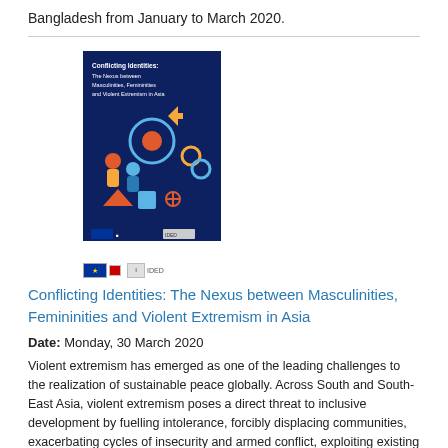Bangladesh from January to March 2020.
[Figure (illustration): Book cover of 'Conflicting Identities: The Nexus between Masculinities, Femininities and Violent Extremism in Asia' with a dark blue background and colorful graphic icons]
Conflicting Identities: The Nexus between Masculinities, Femininities and Violent Extremism in Asia
Date: Monday, 30 March 2020
Violent extremism has emerged as one of the leading challenges to the realization of sustainable peace globally. Across South and South-East Asia, violent extremism poses a direct threat to inclusive development by fuelling intolerance, forcibly displacing communities, exacerbating cycles of insecurity and armed conflict, exploiting existing inequalities, and obstructing the enjoyment of human rights and the rule of law. Underpinning this violence are gender stereotypes that are used to radicalize and recruit men and women, as well as girls and boys, to violent extremist groups.